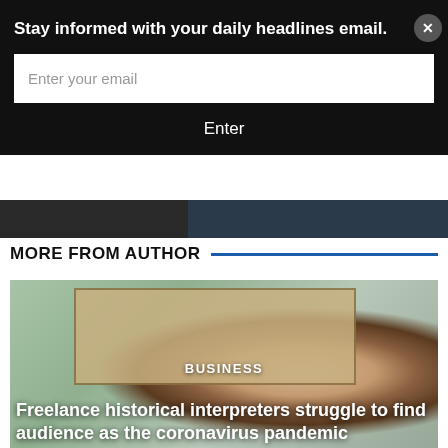Stay informed with your daily headlines email.
Enter your email
Enter
MORE FROM AUTHOR
[Figure (photo): A person with long white hair and glasses wearing a black coat, standing in front of a framed historical map on the wall.]
BUSINESS
Freelance historical interpreters struggle to find audience as the coronavirus pandemic